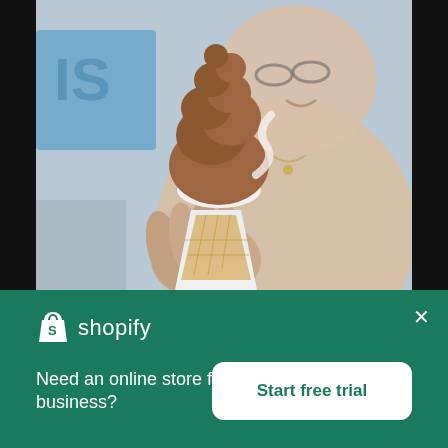[Figure (photo): Person holding a chocolate soft-serve ice cream cone wrapped in paper, blurred background with blue and grey tones]
[Figure (logo): Shopify logo: white shopping bag icon with 'S' and white text 'shopify' on green background]
Need an online store for your business?
Start free trial